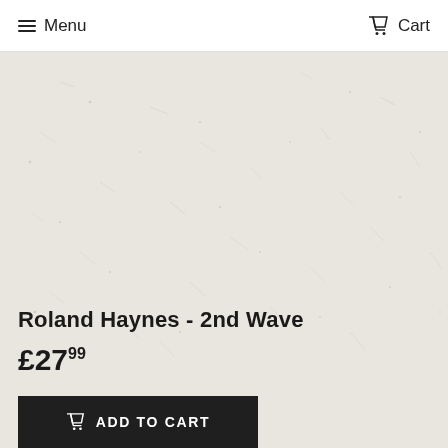Menu   Cart
[Figure (photo): Close-up photo of a light grey/cream stone or quartz surface with fine speckles and subtle texture — product material image for Roland Haynes 2nd Wave]
Roland Haynes - 2nd Wave
£27.99
ADD TO CART